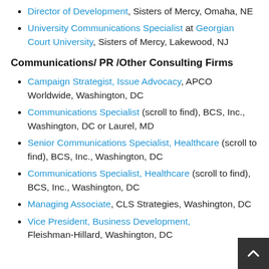Director of Development, Sisters of Mercy, Omaha, NE
University Communications Specialist at Georgian Court University, Sisters of Mercy, Lakewood, NJ
Communications/ PR /Other Consulting Firms
Campaign Strategist, Issue Advocacy, APCO Worldwide, Washington, DC
Communications Specialist (scroll to find), BCS, Inc., Washington, DC or Laurel, MD
Senior Communications Specialist, Healthcare (scroll to find), BCS, Inc., Washington, DC
Communications Specialist, Healthcare (scroll to find), BCS, Inc., Washington, DC
Managing Associate, CLS Strategies, Washington, DC
Vice President, Business Development, Fleishman-Hillard, Washington, DC